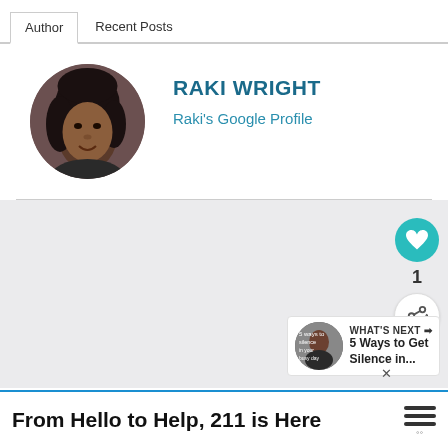Author | Recent Posts
RAKI WRIGHT
Raki's Google Profile
[Figure (photo): Circular profile photo of Raki Wright]
[Figure (infographic): Like button (heart icon, teal circle), count of 1, and share button (circle with share icon)]
[Figure (infographic): What's Next panel with thumbnail and text: 5 Ways to Get Silence in...]
From Hello to Help, 211 is Here